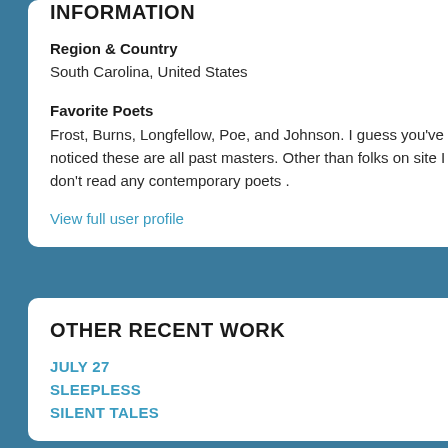INFORMATION
Region & Country
South Carolina, United States
Favorite Poets
Frost, Burns, Longfellow, Poe, and Johnson. I guess you've noticed these are all past masters. Other than folks on site I don't read any contemporary poets .
View full user profile
OTHER RECENT WORK
JULY 27
SLEEPLESS
SILENT TALES